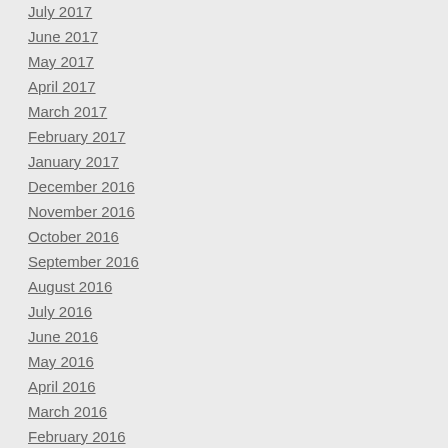July 2017
June 2017
May 2017
April 2017
March 2017
February 2017
January 2017
December 2016
November 2016
October 2016
September 2016
August 2016
July 2016
June 2016
May 2016
April 2016
March 2016
February 2016
January 2016
December 2015
November 2015
October 2015